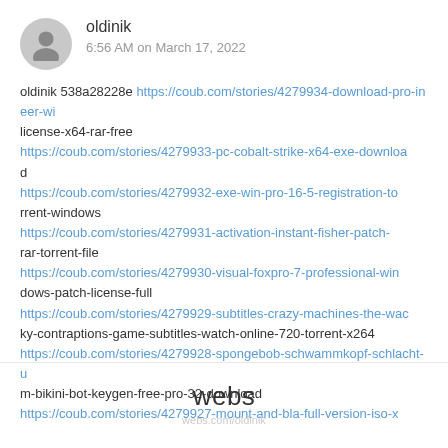oldinik
6:56 AM on March 17, 2022
oldinik 538a28228e https://coub.com/stories/4279934-download-pro-ineer-wi license-x64-rar-free
https://coub.com/stories/4279933-pc-cobalt-strike-x64-exe-download
https://coub.com/stories/4279932-exe-win-pro-16-5-registration-torrent-windows
https://coub.com/stories/4279931-activation-instant-fisher-patch-rar-torrent-file
https://coub.com/stories/4279930-visual-foxpro-7-professional-windows-patch-license-full
https://coub.com/stories/4279929-subtitles-crazy-machines-the-wacky-contraptions-game-subtitles-watch-online-720-torrent-x264
https://coub.com/stories/4279928-spongebob-schwammkopf-schlacht-um-bikini-bot-keygen-free-pro-32-download
https://coub.com/stories/4279927-mount-and-bla-full-version-iso-x
webs